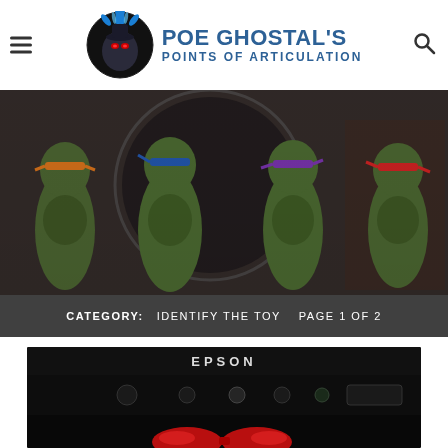POE GHOSTAL'S POINTS OF ARTICULATION
[Figure (photo): Four Teenage Mutant Ninja Turtles action figures posed in front of a dark graffiti-styled background. Left to right: Michelangelo (orange mask), Leonardo (blue mask), Donatello (purple mask), Raphael (red mask). Figures appear to be NECA 1/4 scale.]
CATEGORY: IDENTIFY THE TOY  PAGE 1 OF 2
[Figure (photo): Close-up photo of an Epson printer or device control panel, shown in dark lighting. Red glasses/goggles are visible at the bottom of the frame.]